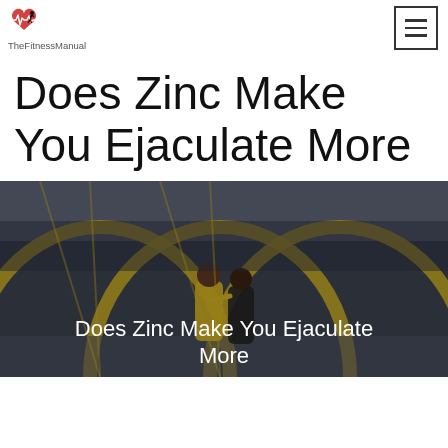[Figure (logo): TheFitnessManual logo: heart with EKG line and running figure, red and black, with text TheFitnessManual below]
Does Zinc Make You Ejaculate More
[Figure (photo): Two people (a man and a woman) in a yellow structure/bridge setting, outdoors, with overlaid text 'Does Zinc Make You Ejaculate More']